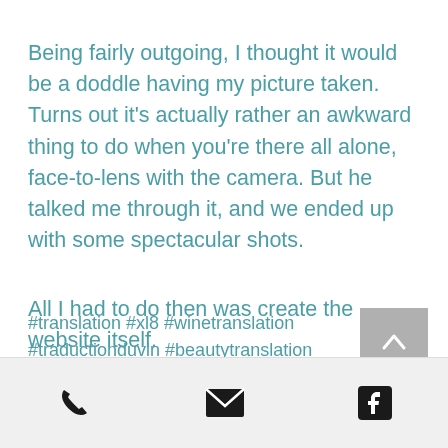Being fairly outgoing, I thought it would be a doddle having my picture taken. Turns out it's actually rather an awkward thing to do when you're there all alone, face-to-lens with the camera. But he talked me through it, and we ended up with some spectacular shots.
All I had to do then was create the website itself.
#translation #xl8 #winetranslation #traductionduvin #beautytranslation #luxurytranslation
Phone | Email | Facebook icons